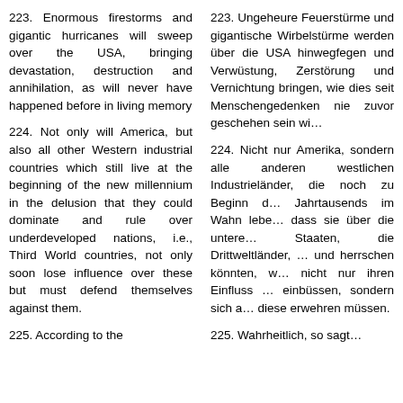223. Enormous firestorms and gigantic hurricanes will sweep over the USA, bringing devastation, destruction and annihilation, as will never have happened before in living memory
223. Ungeheure Feuerstürme und gigantische Wirbelstürme werden über die USA hinwegfegen und Verwüstung, Zerstörung und Vernichtung bringen, wie dies seit Menschengedenken nie zuvor geschehen sein wird.
224. Not only will America, but also all other Western industrial countries which still live at the beginning of the new millennium in the delusion that they could dominate and rule over underdeveloped nations, i.e., Third World countries, not only soon lose influence over these but must defend themselves against them.
224. Nicht nur Amerika, sondern alle anderen westlichen Industrieländer, die noch zu Beginn des neuen Jahrtausends im Wahn leben, dass sie über die unterentwickelten Staaten, die Drittweltländer, dominieren und herrschen könnten, werden nicht nur ihren Einfluss über diese einbüssen, sondern sich auch gegen diese erwehren müssen.
225. According to the
225. Wahrheitlich, so sagt...